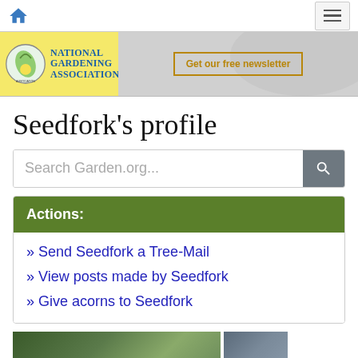National Gardening Association — Get our free newsletter
Seedfork's profile
Search Garden.org...
Actions:
» Send Seedfork a Tree-Mail
» View posts made by Seedfork
» Give acorns to Seedfork
[Figure (photo): Partial photo strip showing outdoor/garden scene at bottom of page]